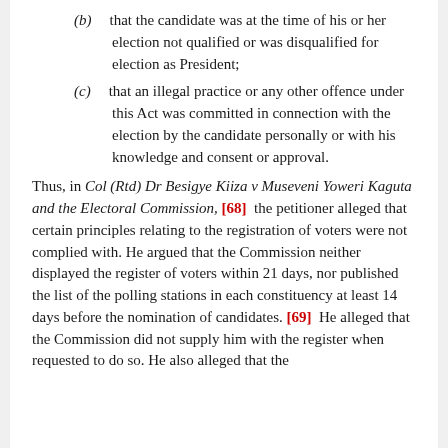(b) that the candidate was at the time of his or her election not qualified or was disqualified for election as President;
(c) that an illegal practice or any other offence under this Act was committed in connection with the election by the candidate personally or with his knowledge and consent or approval.
Thus, in Col (Rtd) Dr Besigye Kiiza v Museveni Yoweri Kaguta and the Electoral Commission, [68] the petitioner alleged that certain principles relating to the registration of voters were not complied with. He argued that the Commission neither displayed the register of voters within 21 days, nor published the list of the polling stations in each constituency at least 14 days before the nomination of candidates. [69] He alleged that the Commission did not supply him with the register when requested to do so. He also alleged that the